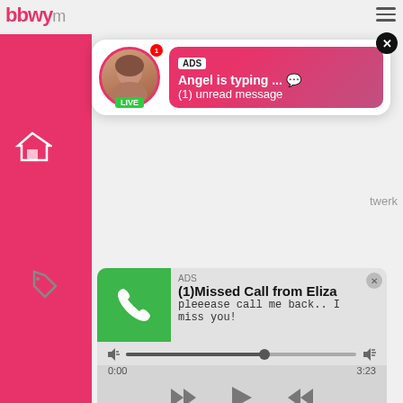[Figure (screenshot): Website header with pink branding showing 'bbwy' text and hamburger menu icon]
[Figure (screenshot): Ad notification popup showing live avatar with 'LIVE' badge, 'ADS' label, 'Angel is typing ... 💬' and '(1) unread message' on pink gradient background with X close button]
[Figure (screenshot): Audio player advertisement showing green phone icon, 'ADS' label, '(1)Missed Call from Eliza', 'pleeease call me back.. I miss you!', progress bar with timestamps 0:00 and 3:23, and playback controls (rewind, play, fast-forward)]
sleeping
anal
russian teen anal
dildo walk
Top sites